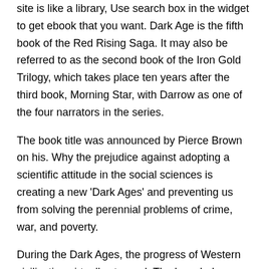site is like a library, Use search box in the widget to get ebook that you want. Dark Age is the fifth book of the Red Rising Saga. It may also be referred to as the second book of the Iron Gold Trilogy, which takes place ten years after the third book, Morning Star, with Darrow as one of the four narrators in the series.
The book title was announced by Pierce Brown on his. Why the prejudice against adopting a scientific attitude in the social sciences is creating a new 'Dark Ages' and preventing us from solving the perennial problems of crime, war, and poverty.
During the Dark Ages, the progress of Western civilization virtually stopped. The knowledge gained by the scholars of the classical age was lost; for nearly years, life was governed by superstitions.
The Dark Age of Comic Books was the culmination of a gradual move towards an older audience for Comic Books, particularly those featuring superheroes, that had started in The Bronze Age of Comic tecknoquestllc.com's sometimes also called The Iron Age of Comic Books, to follow the Gold/Silver/Bronze progression, but Dark Age is the much more common term.